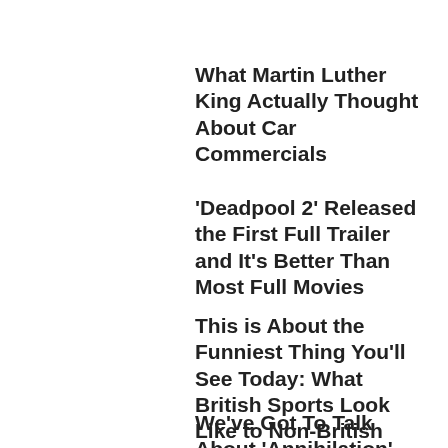What Martin Luther King Actually Thought About Car Commercials
'Deadpool 2' Released the First Full Trailer and It's Better Than Most Full Movies
This is About the Funniest Thing You'll See Today: What British Sports Look Like to Non-British People
We've Got To Talk About 'Annihilation'